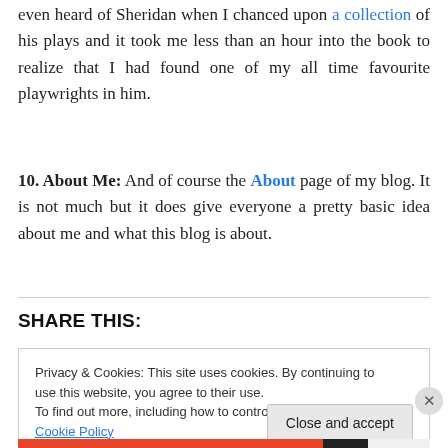even heard of Sheridan when I chanced upon a collection of his plays and it took me less than an hour into the book to realize that I had found one of my all time favourite playwrights in him.
10. About Me: And of course the About page of my blog. It is not much but it does give everyone a pretty basic idea about me and what this blog is about.
SHARE THIS:
Privacy & Cookies: This site uses cookies. By continuing to use this website, you agree to their use. To find out more, including how to control cookies, see here: Cookie Policy